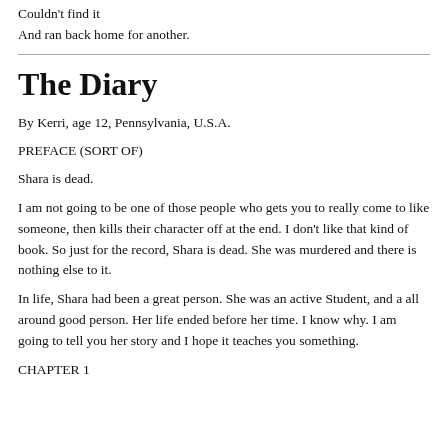Couldn't find it
And ran back home for another.
The Diary
By Kerri, age 12, Pennsylvania, U.S.A.
PREFACE (SORT OF)
Shara is dead.
I am not going to be one of those people who gets you to really come to like someone, then kills their character off at the end. I don't like that kind of book. So just for the record, Shara is dead. She was murdered and there is nothing else to it.
In life, Shara had been a great person. She was an active Student, and a all around good person. Her life ended before her time. I know why. I am going to tell you her story and I hope it teaches you something.
CHAPTER 1